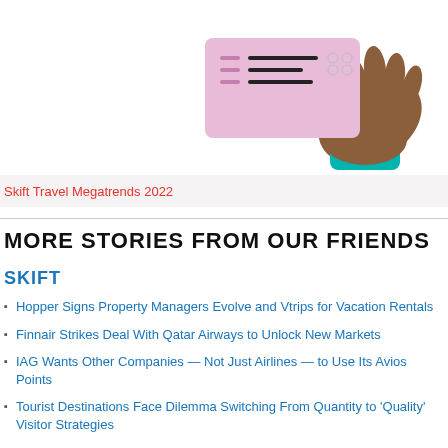[Figure (illustration): Illustration of a hand holding a boarding pass/ticket card with pink/purple checklist design, against a white background]
Skift Travel Megatrends 2022
MORE STORIES FROM OUR FRIENDS
SKIFT
Hopper Signs Property Managers Evolve and Vtrips for Vacation Rentals
Finnair Strikes Deal With Qatar Airways to Unlock New Markets
IAG Wants Other Companies — Not Just Airlines — to Use Its Avios Points
Tourist Destinations Face Dilemma Switching From Quantity to 'Quality' Visitor Strategies